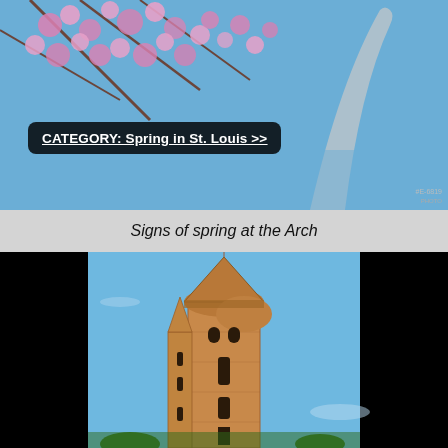[Figure (photo): Spring blossoms with pink flowers against blue sky, with a portion of the St. Louis Arch visible in the background.]
CATEGORY: Spring in St. Louis >>
Signs of spring at the Arch
[Figure (photo): Tall historic brick water tower with turrets and a conical spire against a blue sky, with trees visible at the base.]